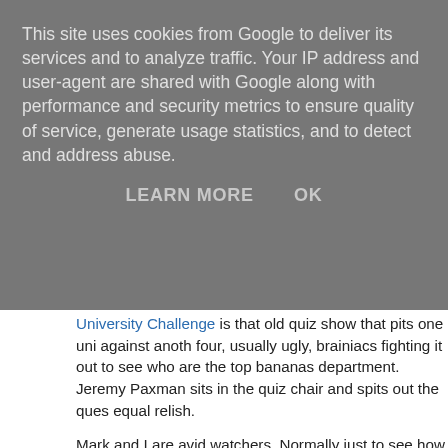This site uses cookies from Google to deliver its services and to analyze traffic. Your IP address and user-agent are shared with Google along with performance and security metrics to ensure quality of service, generate usage statistics, and to detect and address abuse.
LEARN MORE   OK
University Challenge is that old quiz show that pits one uni against anoth... four, usually ugly, brainiacs fighting it out to see who are the top bananas... department. Jeremy Paxman sits in the quiz chair and spits out the ques... equal relish.
Mark and I are avid watchers. Normally just to see how many we can get... we do OK, however last night's show seemed particularly easy. Maybe it... had a gay question setter in there somewhere. How else could you expla... bitchy quotes and the fact that in one round you had to identify Bette Dav... shot of each? Needless to say we walked it.
One of the questions in last night's show was: Who said "The optimist thi... possible worlds. The pessimist fears it is true"? The answer was of cours... well know German and atomic bomber.
David and I normally exchange text messages the start of the show abou... of the team members. Proving you can be be shallow and deep at the...